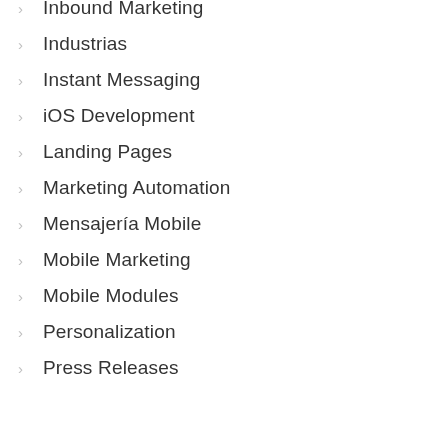Inbound Marketing
Industrias
Instant Messaging
iOS Development
Landing Pages
Marketing Automation
Mensajería Mobile
Mobile Marketing
Mobile Modules
Personalization
Press Releases